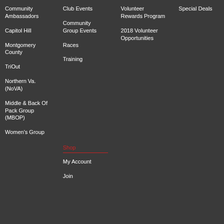Community Ambassadors
Capitol Hill
Montgomery County
TriOut
Northern Va. (NoVA)
Middle & Back Of Pack Group (MBOP)
Women's Group
Club Events
Community Group Events
Races
Training
Shop
My Account
Join
Volunteer Rewards Program
2018 Volunteer Opportunities
Special Deals